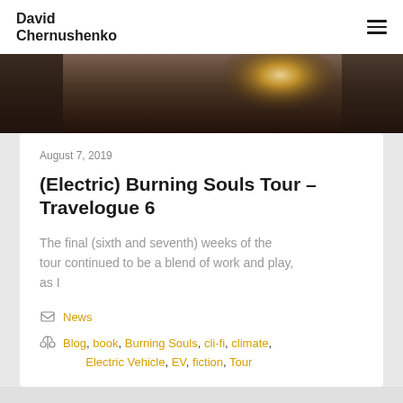David Chernushenko
[Figure (photo): Dark photo strip showing a blurred interior scene with a bright light source]
August 7, 2019
(Electric) Burning Souls Tour – Travelogue 6
The final (sixth and seventh) weeks of the tour continued to be a blend of work and play, as I
News
Blog, book, Burning Souls, cli-fi, climate, Electric Vehicle, EV, fiction, Tour